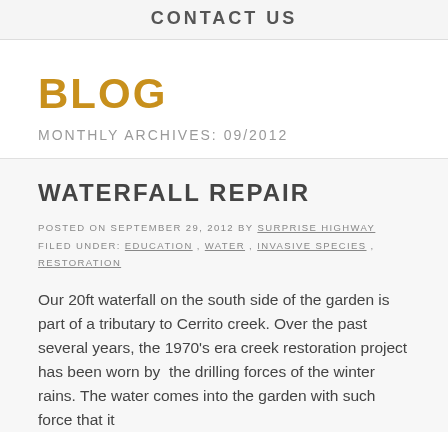CONTACT US
BLOG
MONTHLY ARCHIVES: 09/2012
WATERFALL REPAIR
POSTED ON SEPTEMBER 29, 2012 BY SURPRISE HIGHWAY
FILED UNDER: EDUCATION, WATER, INVASIVE SPECIES, RESTORATION
Our 20ft waterfall on the south side of the garden is  part of a tributary to Cerrito creek. Over the past several years, the 1970's era creek restoration project has been worn by  the drilling forces of the winter rains. The water comes into the garden with such force that it